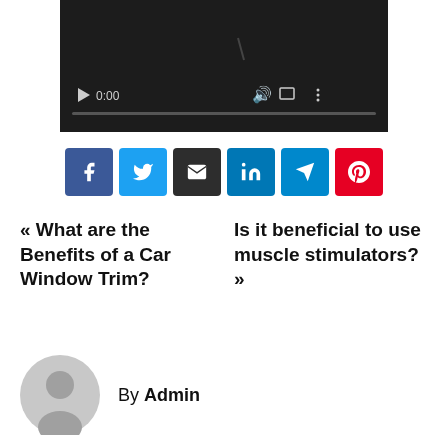[Figure (screenshot): Video player with dark background, showing 0:00 timestamp, play button, volume icon, fullscreen icon, and more options icon with a progress bar at the bottom]
[Figure (other): Row of social share buttons: Facebook (dark blue), Twitter (light blue), Email (dark/black), LinkedIn (blue), Telegram (teal), Pinterest (red)]
« What are the Benefits of a Car Window Trim?
Is it beneficial to use muscle stimulators? »
By Admin